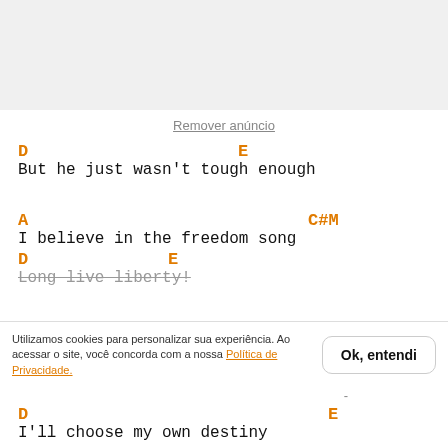[Figure (other): Gray advertisement banner at top of page]
Remover anúncio
D                    E
But he just wasn't tough enough
A                         C#M
I believe in the freedom song
D              E
Long live liberty!
Utilizamos cookies para personalizar sua experiência. Ao acessar o site, você concorda com a nossa Política de Privacidade.
D                         E
I'll choose my own destiny